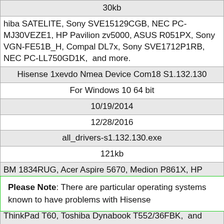| 30kb |
| hiba SATELITE, Sony SVE15129CGB, NEC PC-MJ30VEZE1, HP Pavilion zv5000, ASUS R051PX, Sony VGN-FE51B_H, Compal DL7x, Sony SVE1712P1RB, NEC PC-LL750GD1K,  and more. |
| Hisense 1xevdo Nmea Device Com18 S1.132.130 |
| For Windows 10 64 bit |
| 10/19/2014 |
| 12/28/2016 |
| all_drivers-s1.132.130.exe |
| 121kb |
| IBM 1834RUG, Acer Aspire 5670, Medion P861X, HP ProLiant 6460c Gen8 WS Blade, IBM 8215EKU, Gateway CT5628, THEIS H-P925/945G7MD-8KS2HV/1024/80/Profi-Towe, HP G5360fr-m, novo ThinkPad T60, Toshiba Dynabook T552/36FBK,  and more. |
Please Note: There are particular operating systems known to have problems with Hisense